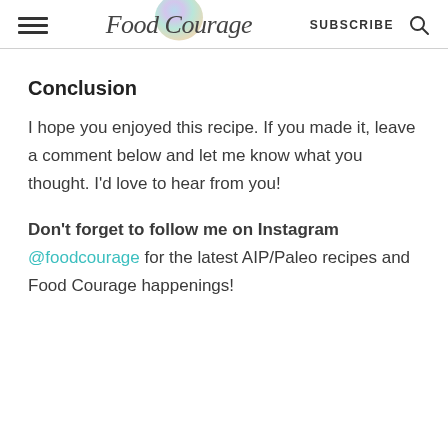Food Courage  SUBSCRIBE
Conclusion
I hope you enjoyed this recipe. If you made it, leave a comment below and let me know what you thought. I'd love to hear from you!
Don't forget to follow me on Instagram @foodcourage for the latest AIP/Paleo recipes and Food Courage happenings!